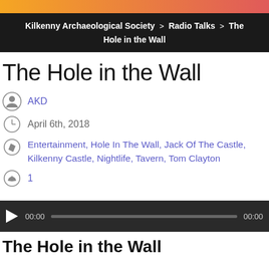Kilkenny Archaeological Society > Radio Talks > The Hole in the Wall
The Hole in the Wall
AKD
April 6th, 2018
Entertainment, Hole In The Wall, Jack Of The Castle, Kilkenny Castle, Nightlife, Tavern, Tom Clayton
1
[Figure (other): Audio player with play button, time display 00:00, progress bar, and end time 00:00]
The Hole in the Wall